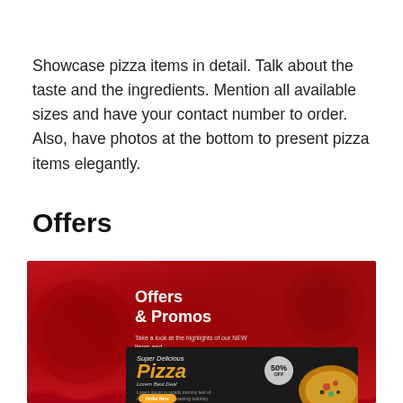Showcase pizza items in detail. Talk about the taste and the ingredients. Mention all available sizes and have your contact number to order. Also, have photos at the bottom to present pizza items elegantly.
Offers
[Figure (illustration): Red-background pizza offers and promos banner showing 'Offers & Promos' text with descriptive subtext, and a dark-background pizza promotional card below showing 'Super Delicious Pizza' in stylized script with a 50% OFF badge and a pizza photo.]